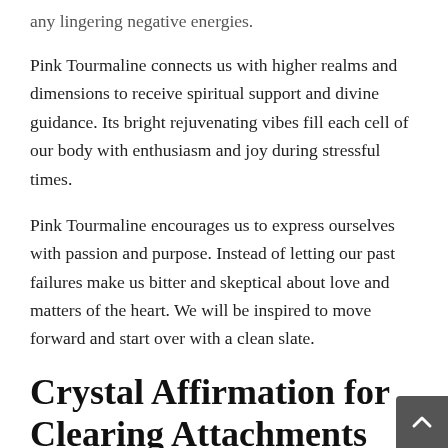any lingering negative energies.
Pink Tourmaline connects us with higher realms and dimensions to receive spiritual support and divine guidance. Its bright rejuvenating vibes fill each cell of our body with enthusiasm and joy during stressful times.
Pink Tourmaline encourages us to express ourselves with passion and purpose. Instead of letting our past failures make us bitter and skeptical about love and matters of the heart. We will be inspired to move forward and start over with a clean slate.
Crystal Affirmation for Clearing Attachments and Attracting Love: